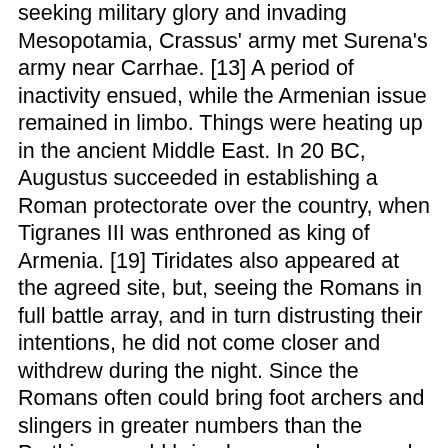seeking military glory and invading Mesopotamia, Crassus' army met Surena's army near Carrhae. [13] A period of inactivity ensued, while the Armenian issue remained in limbo. Things were heating up in the ancient Middle East. In 20 BC, Augustus succeeded in establishing a Roman protectorate over the country, when Tigranes III was enthroned as king of Armenia. [19] Tiridates also appeared at the agreed site, but, seeing the Romans in full battle array, and in turn distrusting their intentions, he did not come closer and withdrew during the night. Since the Romans often could bring foot archers and slingers in greater numbers than the Parthians could bring horse archers - and since the slingers often had a longer range, the Romans … Marcus Aurelius pursued the consolations of philosophy and self-discipline. Thus both of his adoptive sons, Marcus Aurelius and Lucius Verus, achieved middle age without traveling the provinces and without gaining military experience. Sementara Rom memfokuskan pada infanteri berat, Parthians memusatkan perhatian pada pasukan berkuda berat, memanah kuda dan lancer. 960-600 – 191-13 KB. [60] For the about to